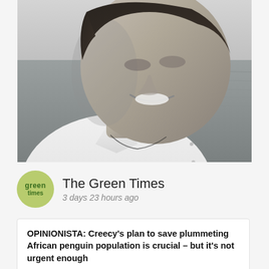[Figure (photo): Black and white portrait photo of a smiling woman with short dark hair, wearing a white shirt, with water/ocean visible in the background]
The Green Times
3 days 23 hours ago
OPINIONISTA: Creecy's plan to save plummeting African penguin population is crucial – but it's not urgent enough
We are urging the minister to immediately close the feeding grounds of South Africa's African penguin